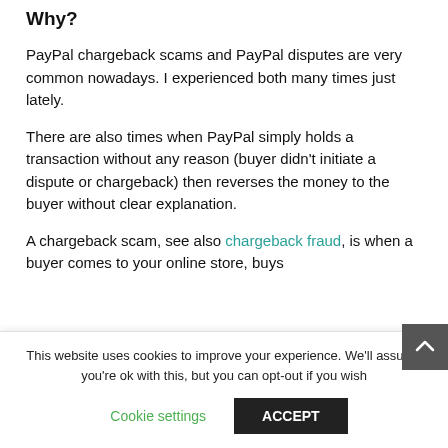Why?
PayPal chargeback scams and PayPal disputes are very common nowadays. I experienced both many times just lately.
There are also times when PayPal simply holds a transaction without any reason (buyer didn't initiate a dispute or chargeback) then reverses the money to the buyer without clear explanation.
A chargeback scam, see also chargeback fraud, is when a buyer comes to your online store, buys…
This website uses cookies to improve your experience. We'll assume you're ok with this, but you can opt-out if you wish
Cookie settings
ACCEPT